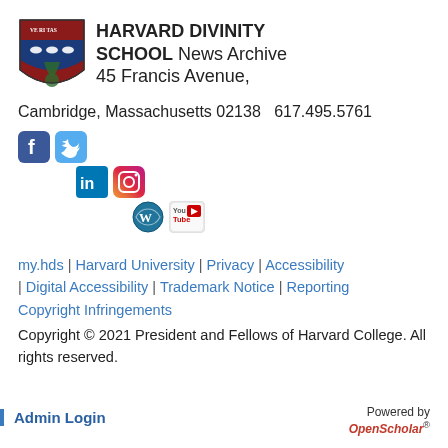[Figure (logo): Harvard Divinity School shield logo with crimson, blue, and green heraldic design]
HARVARD DIVINITY SCHOOL News Archive
45 Francis Avenue,
Cambridge, Massachusetts 02138   617.495.5761
[Figure (infographic): Social media icons: Facebook, Twitter (row 1); LinkedIn, Instagram (row 2); WordPress, YouTube (row 3)]
my.hds | Harvard University | Privacy | Accessibility | Digital Accessibility | Trademark Notice | Reporting Copyright Infringements
Copyright © 2021 President and Fellows of Harvard College. All rights reserved.
Admin Login
Powered by OpenScholar®